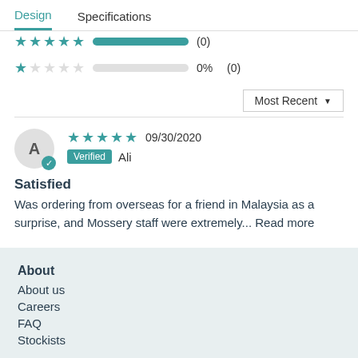Design  Specifications
[Figure (other): Partially visible star rating bar row at top of page]
0%  (0)
Most Recent ▾
A  ★★★★★  09/30/2020  Verified  Ali
Satisfied
Was ordering from overseas for a friend in Malaysia as a surprise, and Mossery staff were extremely... Read more
About
About us
Careers
FAQ
Stockists